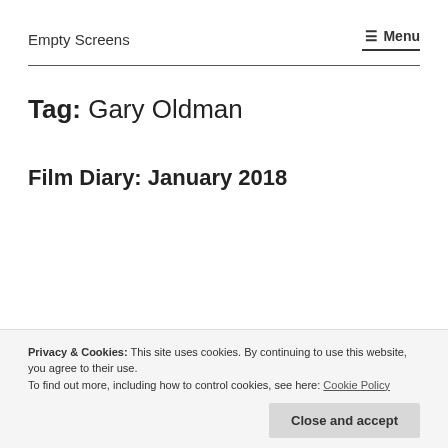Empty Screens
Tag: Gary Oldman
Film Diary: January 2018
Privacy & Cookies: This site uses cookies. By continuing to use this website, you agree to their use.
To find out more, including how to control cookies, see here: Cookie Policy
Close and accept